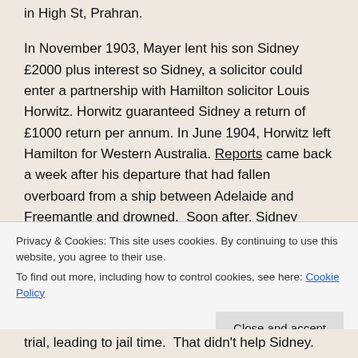in High St, Prahran.
In November 1903, Mayer lent his son Sidney £2000 plus interest so Sidney, a solicitor could enter a partnership with Hamilton solicitor Louis Horwitz. Horwitz guaranteed Sidney a return of £1000 return per annum. In June 1904, Horwitz left Hamilton for Western Australia. Reports came back a week after his departure that had fallen overboard from a ship between Adelaide and Freemantle and drowned.  Soon after, Sidney began bearing his partner had misappropriated
Privacy & Cookies: This site uses cookies. By continuing to use this website, you agree to their use.
To find out more, including how to control cookies, see here: Cookie Policy
trial, leading to jail time.  That didn't help Sidney.